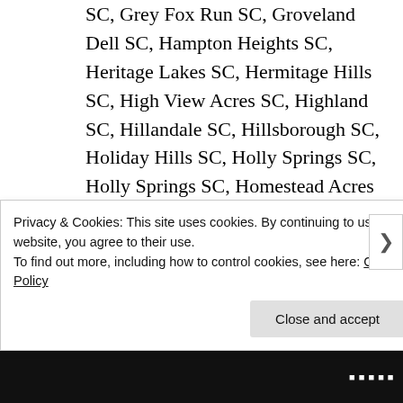SC, Grey Fox Run SC, Groveland Dell SC, Hampton Heights SC, Heritage Lakes SC, Hermitage Hills SC, High View Acres SC, Highland SC, Hillandale SC, Hillsborough SC, Holiday Hills SC, Holly Springs SC, Holly Springs SC, Homestead Acres SC, Hudson Acres SC, Hughes Heights SC, Hunters Woods SC, Huntington
Privacy & Cookies: This site uses cookies. By continuing to use this website, you agree to their use.
To find out more, including how to control cookies, see here: Cookie Policy